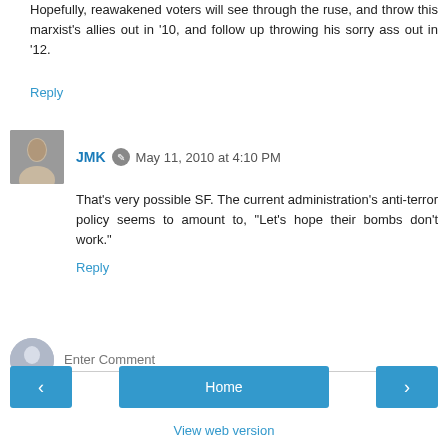Hopefully, reawakened voters will see through the ruse, and throw this marxist's allies out in '10, and follow up throwing his sorry ass out in '12.
Reply
JMK  May 11, 2010 at 4:10 PM
That's very possible SF. The current administration's anti-terror policy seems to amount to, "Let's hope their bombs don't work."
Reply
Enter Comment
Home
View web version